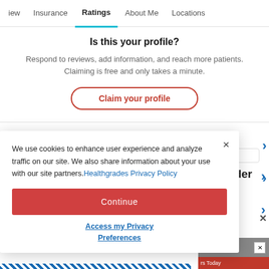iew  Insurance  Ratings  About Me  Locations
Is this your profile?
Respond to reviews, add information, and reach more patients. Claiming is free and only takes a minute.
Claim your profile
Know Before You Go
We use cookies to enhance user experience and analyze traffic on our site. We also share information about your use with our site partners. Healthgrades Privacy Policy
Continue
Access my Privacy Preferences